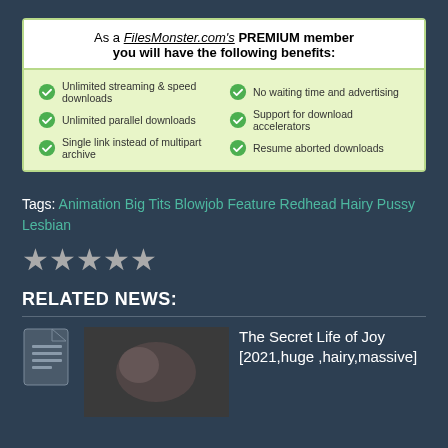As a FilesMonster.com's PREMIUM member you will have the following benefits:
Unlimited streaming & speed downloads
No waiting time and advertising
Unlimited parallel downloads
Support for download accelerators
Single link instead of multipart archive
Resume aborted downloads
Tags: Animation Big Tits Blowjob Feature Redhead Hairy Pussy Lesbian
RELATED NEWS:
The Secret Life of Joy [2021,huge ,hairy,massive]